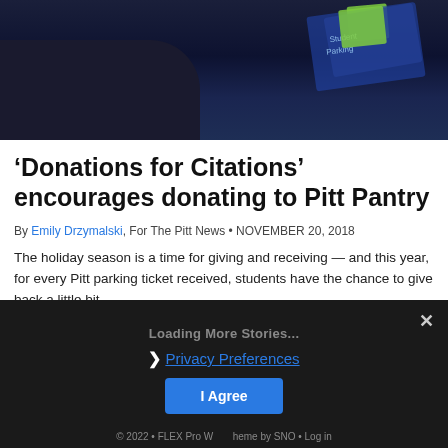[Figure (photo): Dark photo showing a parking ticket or pass with a green element visible, set against a dark navy background]
‘Donations for Citations’ encourages donating to Pitt Pantry
By Emily Drzymalski, For The Pitt News • NOVEMBER 20, 2018
The holiday season is a time for giving and receiving — and this year, for every Pitt parking ticket received, students have the chance to give back a little bit.
Loading More Stories...
› Privacy Preferences
I Agree
© 2022 • FLEX Pro W       heme by SNO • Log in